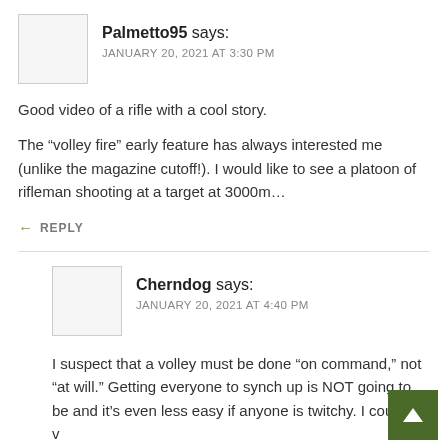Palmetto95 says: JANUARY 20, 2021 AT 3:30 PM
Good video of a rifle with a cool story.
The “volley fire” early feature has always interested me (unlike the magazine cutoff!). I would like to see a platoon of rifleman shooting at a target at 3000m...
← REPLY
Cherndog says: JANUARY 20, 2021 AT 4:40 PM
I suspect that a volley must be done “on command,” not “at will.” Getting everyone to synch up is NOT going to be and it’s even less easy if anyone is twitchy. I could be v